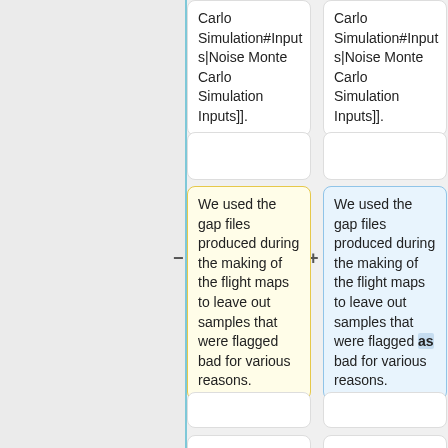Carlo Simulation#Inputs|Noise Monte Carlo Simulation Inputs]].
Carlo Simulation#Inputs|Noise Monte Carlo Simulation Inputs]].
We used the gap files produced during the making of the flight maps to leave out samples that were flagged bad for various reasons.
We used the gap files produced during the making of the flight maps to leave out samples that were flagged as bad for various reasons.
====Production===
====Production===